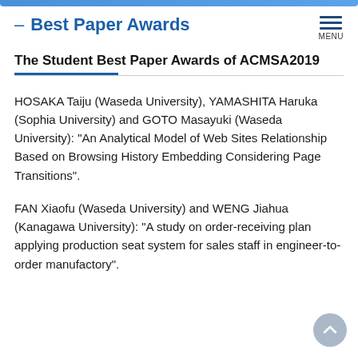Best Paper Awards
The Student Best Paper Awards of ACMSA2019
HOSAKA Taiju (Waseda University), YAMASHITA Haruka (Sophia University) and GOTO Masayuki (Waseda University): “An Analytical Model of Web Sites Relationship Based on Browsing History Embedding Considering Page Transitions”.
FAN Xiaofu (Waseda University) and WENG Jiahua (Kanagawa University): “A study on order-receiving plan applying production seat system for sales staff in engineer-to-order manufactory”.